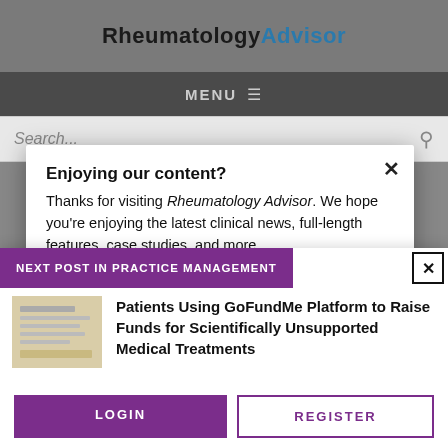RheumatologyAdvisor
MENU
Search...
Enjoying our content?
Thanks for visiting Rheumatology Advisor. We hope you’re enjoying the latest clinical news, full-length features, case studies, and more.
NEXT POST IN PRACTICE MANAGEMENT
Patients Using GoFundMe Platform to Raise Funds for Scientifically Unsupported Medical Treatments
LOGIN
REGISTER